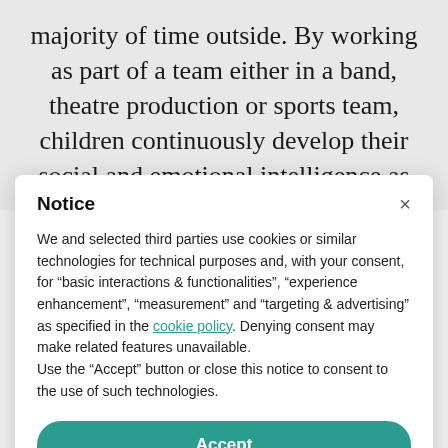majority of time outside. By working as part of a team either in a band, theatre production or sports team, children continuously develop their social and emotional intelligence as well as share
Notice
We and selected third parties use cookies or similar technologies for technical purposes and, with your consent, for “basic interactions & functionalities”, “experience enhancement”, “measurement” and “targeting & advertising” as specified in the cookie policy. Denying consent may make related features unavailable.
Use the “Accept” button or close this notice to consent to the use of such technologies.
Accept
Learn more and customise